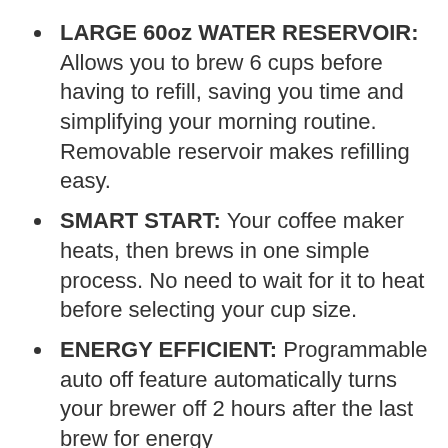LARGE 60oz WATER RESERVOIR: Allows you to brew 6 cups before having to refill, saving you time and simplifying your morning routine. Removable reservoir makes refilling easy.
SMART START: Your coffee maker heats, then brews in one simple process. No need to wait for it to heat before selecting your cup size.
ENERGY EFFICIENT: Programmable auto off feature automatically turns your brewer off 2 hours after the last brew for energy